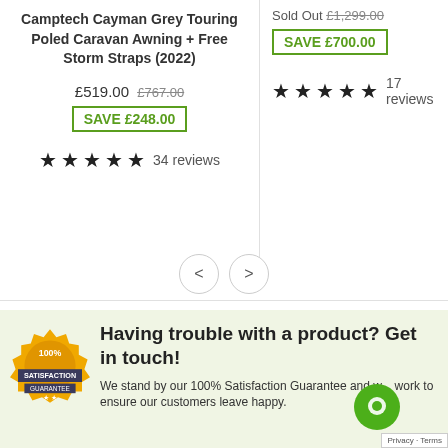Camptech Cayman Grey Touring Poled Caravan Awning + Free Storm Straps (2022)
£519.00 £767.00 SAVE £248.00
★★★★★ 34 reviews
Sold Out £1,299.00 SAVE £700.00
★★★★★ 17 reviews
[Figure (logo): 100% Satisfaction Guarantee gold badge/seal]
Having trouble with a product? Get in touch!
We stand by our 100% Satisfaction Guarantee and w... work to ensure our customers leave happy.